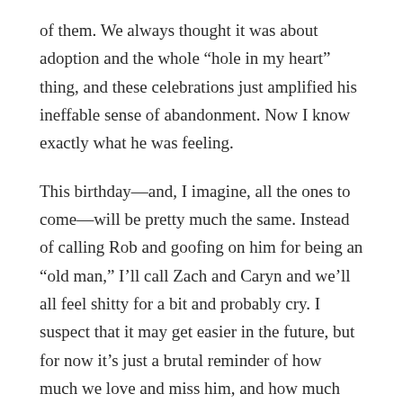of them. We always thought it was about adoption and the whole “hole in my heart” thing, and these celebrations just amplified his ineffable sense of abandonment. Now I know exactly what he was feeling.
This birthday—and, I imagine, all the ones to come—will be pretty much the same. Instead of calling Rob and goofing on him for being an “old man,” I’ll call Zach and Caryn and we’ll all feel shitty for a bit and probably cry. I suspect that it may get easier in the future, but for now it’s just a brutal reminder of how much we love and miss him, and how much we’d rather have him here with us. No one liked to party as much as Rob, but even he would find this one to be a real drag.